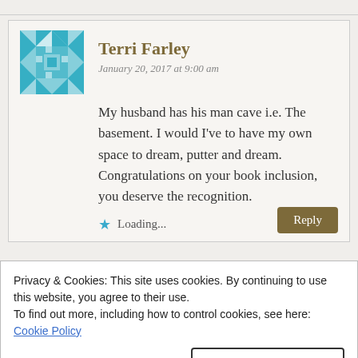[Figure (illustration): Teal geometric quilt-pattern avatar for Terri Farley]
Terri Farley
January 20, 2017 at 9:00 am
My husband has his man cave i.e. The basement. I would I’ve to have my own space to dream, putter and dream. Congratulations on your book inclusion, you deserve the recognition.
★ Loading...
Privacy & Cookies: This site uses cookies. By continuing to use this website, you agree to their use.
To find out more, including how to control cookies, see here:
Cookie Policy
Close and accept
Congratulations Mary! I am so excited